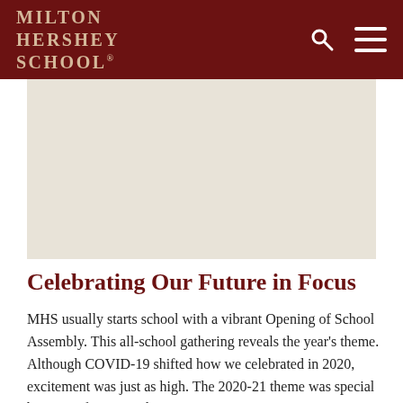MILTON HERSHEY SCHOOL
[Figure (photo): A light beige/cream colored image placeholder area below the header navigation]
Celebrating Our Future in Focus
MHS usually starts school with a vibrant Opening of School Assembly. This all-school gathering reveals the year's theme. Although COVID-19 shifted how we celebrated in 2020, excitement was just as high. The 2020-21 theme was special because of its tie to the